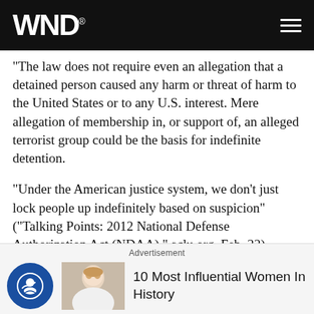WND
"The law does not require even an allegation that a detained person caused any harm or threat of harm to the United States or to any U.S. interest. Mere allegation of membership in, or support of, an alleged terrorist group could be the basis for indefinite detention.
"Under the American justice system, we don't just lock people up indefinitely based on suspicion" ("Talking Points: 2012 National Defense Authorization Act (NDAA)," aclu.org, Feb. 22).
Next week: With a growing bipartisan base, other reaso
Advertisement
10 Most Influential Women In History